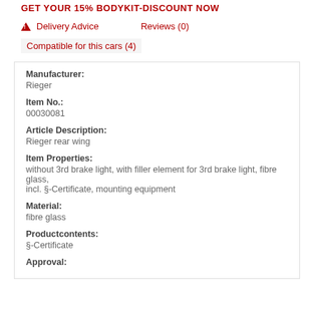GET YOUR 15% BODYKIT-DISCOUNT NOW
⚠ Delivery Advice    Reviews (0)
Compatible for this cars (4)
Manufacturer:
Rieger
Item No.:
00030081
Article Description:
Rieger rear wing
Item Properties:
without 3rd brake light, with filler element for 3rd brake light, fibre glass,
incl. §-Certificate, mounting equipment
Material:
fibre glass
Productcontents:
§-Certificate
Approval: